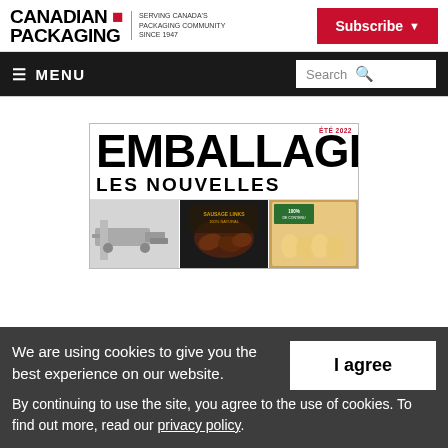CANADIAN PACKAGING — SERVING CANADA'S PACKAGING COMMUNITY SINCE 1947 | Subscribe
≡ MENU | Search
[Figure (screenshot): Magazine cover showing EMBALLAGES LES NOUVELLES with ÉTÉ 2022 issue, featuring images of packaging machinery, sausage products, and egg carton with 100% recycled content label.]
We are using cookies to give you the best experience on our website. By continuing to use the site, you agree to the use of cookies. To find out more, read our privacy policy.